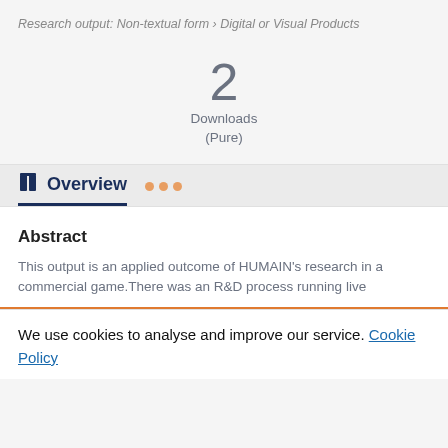Research output: Non-textual form › Digital or Visual Products
2
Downloads
(Pure)
Overview
Abstract
This output is an applied outcome of HUMAIN's research in a commercial game. There was an R&D process running live
We use cookies to analyse and improve our service. Cookie Policy